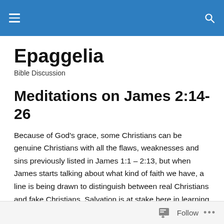Epaggelia — navigation header bar
Epaggelia
Bible Discussion
Meditations on James 2:14-26
Because of God's grace, some Christians can be genuine Christians with all the flaws, weaknesses and sins previously listed in James 1:1 – 2:13, but when James starts talking about what kind of faith we have, a line is being drawn to distinguish between real Christians and fake Christians. Salvation is at stake here in learning what
Follow ...